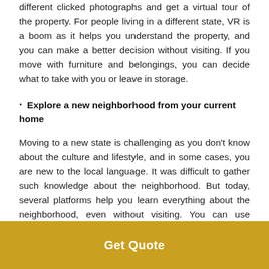different clicked photographs and get a virtual tour of the property. For people living in a different state, VR is a boom as it helps you understand the property, and you can make a better decision without visiting. If you move with furniture and belongings, you can decide what to take with you or leave in storage.
• Explore a new neighborhood from your current home
Moving to a new state is challenging as you don't know about the culture and lifestyle, and in some cases, you are new to the local language. It was difficult to gather such knowledge about the neighborhood. But today, several platforms help you learn everything about the neighborhood, even without visiting. You can use Google maps to get real-time data about the routes of the city,
Get Quote